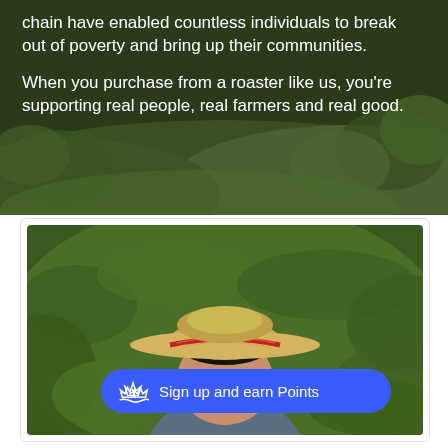chain have enabled countless individuals to break out of poverty and bring up their communities.
When you purchase from a roaster like us, you're supporting real people, real farmers and real good.
[Figure (photo): Close-up photo of a woman wearing a wide-brimmed straw hat with red trim, outdoors among green tropical plants and foliage, squinting slightly]
Sign up and earn Points